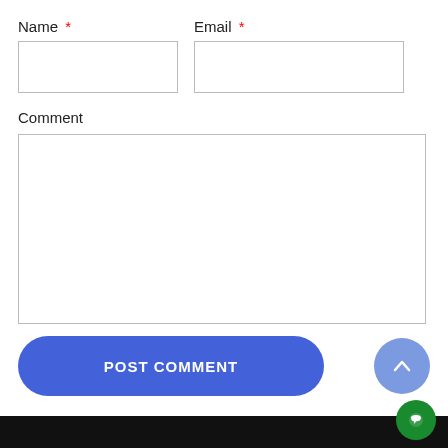Name *
Email *
Comment
[Figure (screenshot): POST COMMENT button — large rounded blue rectangle with white bold uppercase text]
[Figure (screenshot): Scroll-to-top circle button with upward chevron arrow, light blue]
[Figure (screenshot): Chat button — small green circle with white chat icon in bottom right corner]